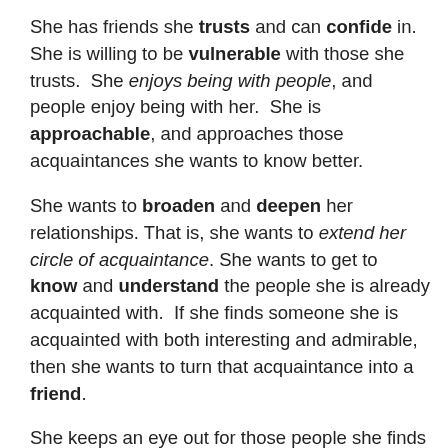She has friends she trusts and can confide in. She is willing to be vulnerable with those she trusts. She enjoys being with people, and people enjoy being with her. She is approachable, and approaches those acquaintances she wants to know better.
She wants to broaden and deepen her relationships. That is, she wants to extend her circle of acquaintance. She wants to get to know and understand the people she is already acquainted with. If she finds someone she is acquainted with both interesting and admirable, then she wants to turn that acquaintance into a friend.
She keeps an eye out for those people she finds intriguing, who nevertheless challenge her point of view. For example, suppose both she and another person like to